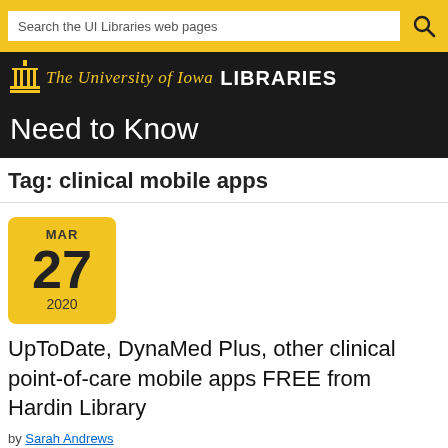Search the UI Libraries web pages
[Figure (logo): The University of Iowa Libraries logo with gold text and building icon on black background]
Need to Know
Tag: clinical mobile apps
MAR 27 2020
UpToDate, DynaMed Plus, other clinical point-of-care mobile apps FREE from Hardin Library
by Sarah Andrews